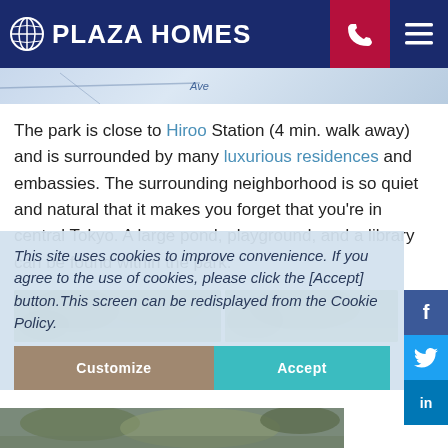PLAZA HOMES
[Figure (map): Partial map background strip showing street/ave label]
The park is close to Hiroo Station (4 min. walk away) and is surrounded by many luxurious residences and embassies. The surrounding neighborhood is so quiet and natural that it makes you forget that you're in central Tokyo. A large pond, playground, and a library can be found within the park.
[Figure (photo): Two park/nature photos side by side showing trees and greenery]
This site uses cookies to improve convenience. If you agree to the use of cookies, please click the [Accept] button.This screen can be redisplayed from the Cookie Policy.
[Figure (photo): Bottom park photo showing greenery/nature]